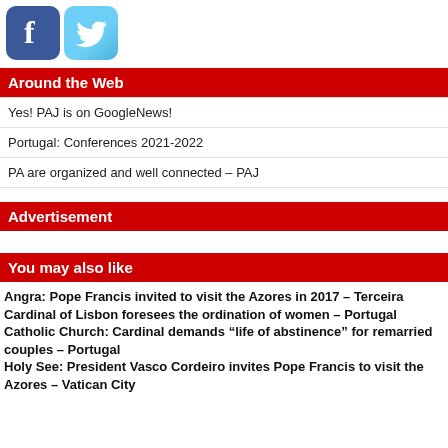[Figure (logo): Facebook and Twitter social media icons]
Around the Web
Yes! PAJ is on GoogleNews!
Portugal: Conferences 2021-2022
PA are organized and well connected – PAJ
Advertisement
You may also like
Angra: Pope Francis invited to visit the Azores in 2017 – Terceira
Cardinal of Lisbon foresees the ordination of women – Portugal
Catholic Church: Cardinal demands “life of abstinence” for remarried couples – Portugal
Holy See: President Vasco Cordeiro invites Pope Francis to visit the Azores – Vatican City